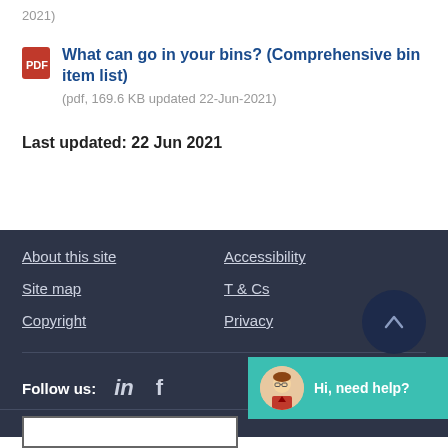2021)
What can go in your bins? (Comprehensive bin item list) (pdf, 169.6 KB updated 22-Jun-2021)
Last updated: 22 Jun 2021
About this site | Accessibility | Site map | T & Cs | Copyright | Privacy
Follow us:
[Figure (illustration): Chatbot avatar with teal bubble saying Hi, need help?]